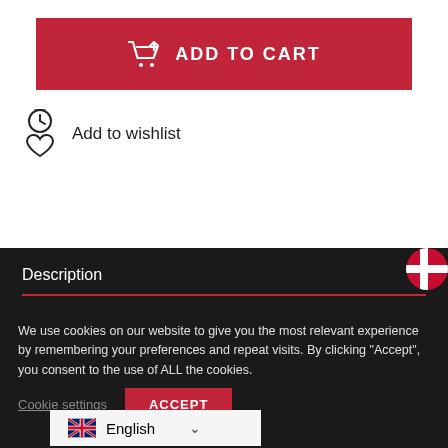[Figure (screenshot): Red Add to Cart button with shopping cart icon]
Add to wishlist
Description
Additional information
We use cookies on our website to give you the most relevant experience by remembering your preferences and repeat visits. By clicking “Accept”, you consent to the use of ALL the cookies.
Cookie settings
ACCEPT
English